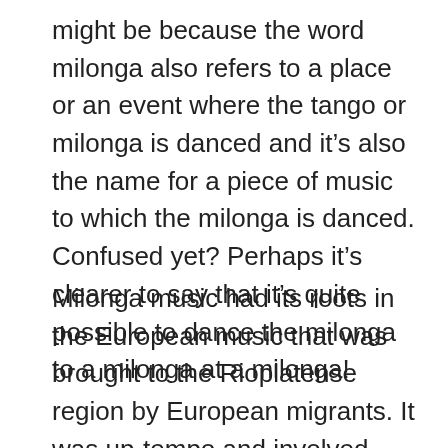might be because the word milonga also refers to a place or an event where the tango or milonga is danced and it's also the name for a piece of music to which the milonga is danced. Confused yet? Perhaps it's clearer to say that it's quite possible to dance the milonga to a milonga at a milonga!
Milonga music had its roots in the European music that was brought to the Rioplatense region by European migrants. It was up-tempo and involved improvisation from the musicians. It had its heyday in the 1870s. Over time steps were developed to go with